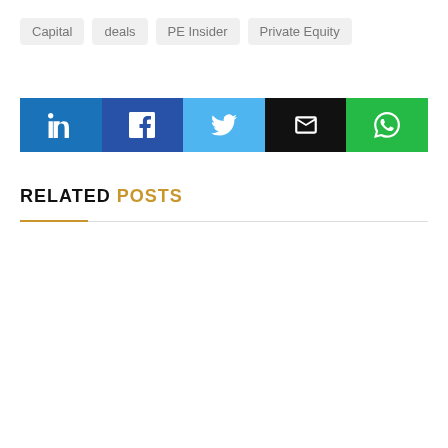Capital
deals
PE Insider
Private Equity
[Figure (infographic): Social share buttons row: LinkedIn (dark blue), Facebook (dark blue), Twitter (light blue), Email (black), WhatsApp (green)]
RELATED POSTS